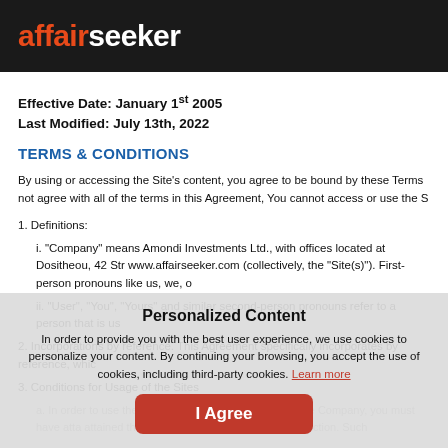affairseeker
Effective Date: January 1st 2005
Last Modified: July 13th, 2022
TERMS & CONDITIONS
By using or accessing the Site's content, you agree to be bound by these Terms not agree with all of the terms in this Agreement, You cannot access or use the S
1. Definitions:
i. "Company" means Amondi Investments Ltd., with offices located at Dositheou, 42 Str www.affairseeker.com (collectively, the "Site(s)"). First-person pronouns like us, we, o
ii. "User", "You", "Yours" and similar second-person pronouns refer to a person that is us
2. Incorporations by reference. This Agreement specifically incorporates by reference, whic
3. Conditions for Usage of the Sites
In order to use the Site or any services provided by the Company, you must have atta attained the age of majority in applicable jurisdiction.
Personalized Content
In order to provide you with the best user experience, we use cookies to personalize your content. By continuing your browsing, you accept the use of cookies, including third-party cookies. Learn more
I Agree